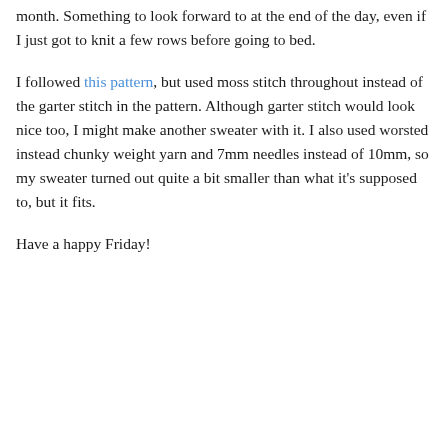month. Something to look forward to at the end of the day, even if I just got to knit a few rows before going to bed.
I followed this pattern, but used moss stitch throughout instead of the garter stitch in the pattern. Although garter stitch would look nice too, I might make another sweater with it. I also used worsted instead chunky weight yarn and 7mm needles instead of 10mm, so my sweater turned out quite a bit smaller than what it's supposed to, but it fits.
Have a happy Friday!